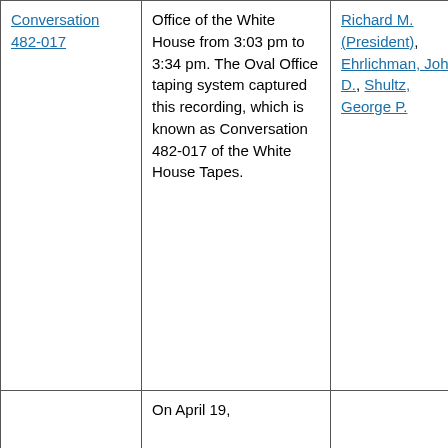| Conversation 482-017 | Office of the White House from 3:03 pm to 3:34 pm. The Oval Office taping system captured this recording, which is known as Conversation 482-017 of the White House Tapes. | Richard M. (President), Ehrlichman, John D., Shultz, George P. |  |
|  | On April 19, |  |  |